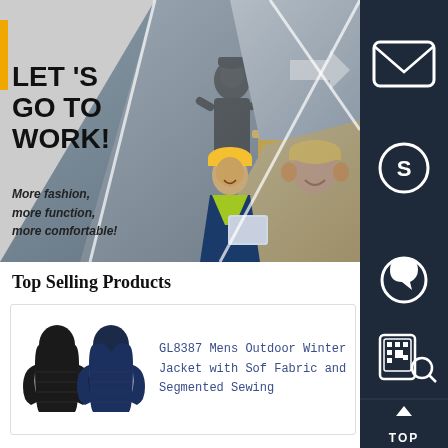[Figure (photo): Hero banner collage showing industrial/workplace workers: person in black rain gear operating machinery, construction worker in yellow hard hat and hi-vis vest reviewing documents, warehouse worker with yellow forklift and direction arrow signage, smiling worker in red plaid shirt and yellow hard hat]
LET 'S
GO TO
WORK!
More fashion, more function, more comfortable!
Top Selling Products
[Figure (photo): Two men's puffer winter jackets, one black and one navy blue, displayed side by side]
GL8387 Mens Outdoor Winter Jacket with Soft Fabric and Segmented Sewing